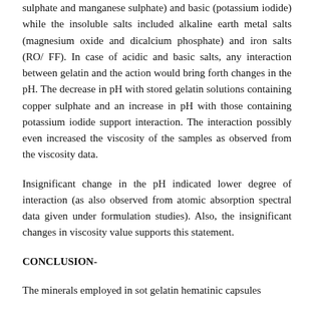sulphate and manganese sulphate) and basic (potassium iodide) while the insoluble salts included alkaline earth metal salts (magnesium oxide and dicalcium phosphate) and iron salts (RO/ FF). In case of acidic and basic salts, any interaction between gelatin and the action would bring forth changes in the pH. The decrease in pH with stored gelatin solutions containing copper sulphate and an increase in pH with those containing potassium iodide support interaction. The interaction possibly even increased the viscosity of the samples as observed from the viscosity data.
Insignificant change in the pH indicated lower degree of interaction (as also observed from atomic absorption spectral data given under formulation studies). Also, the insignificant changes in viscosity value supports this statement.
CONCLUSION-
The minerals employed in sot gelatin hematinic capsules